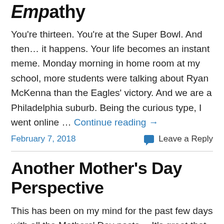Empathy
You're thirteen.  You're at the Super Bowl.  And then… it happens.  Your life becomes an instant meme. Monday morning in home room at my school, more students were talking about Ryan McKenna than the Eagles' victory.  And we are a Philadelphia suburb. Being the curious type, I went online … Continue reading →
February 7, 2018
Leave a Reply
Another Mother's Day Perspective
This has been on my mind for the past few days with all the Mothers' Day posts… It's great that many get excited over the day, but I just wanted to acknowledge that for